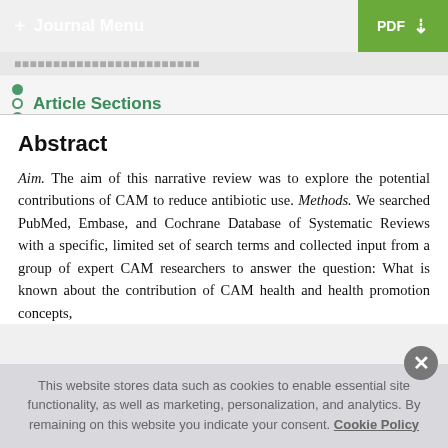+ Journal Menu | PDF
Article Sections
Abstract
Aim. The aim of this narrative review was to explore the potential contributions of CAM to reduce antibiotic use. Methods. We searched PubMed, Embase, and Cochrane Database of Systematic Reviews with a specific, limited set of search terms and collected input from a group of expert CAM researchers to answer the question: What is known about the contribution of CAM health and health promotion concepts,
This website stores data such as cookies to enable essential site functionality, as well as marketing, personalization, and analytics. By remaining on this website you indicate your consent. Cookie Policy